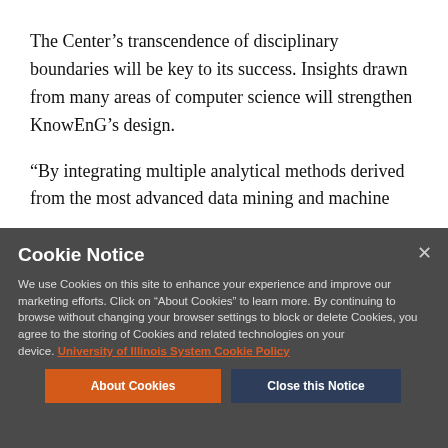The Center's transcendence of disciplinary boundaries will be key to its success. Insights drawn from many areas of computer science will strengthen KnowEnG's design.
“By integrating multiple analytical methods derived from the most advanced data mining and machine
Cookie Notice
We use Cookies on this site to enhance your experience and improve our marketing efforts. Click on “About Cookies” to learn more. By continuing to browse without changing your browser settings to block or delete Cookies, you agree to the storing of Cookies and related technologies on your device. University of Illinois System Cookie Policy